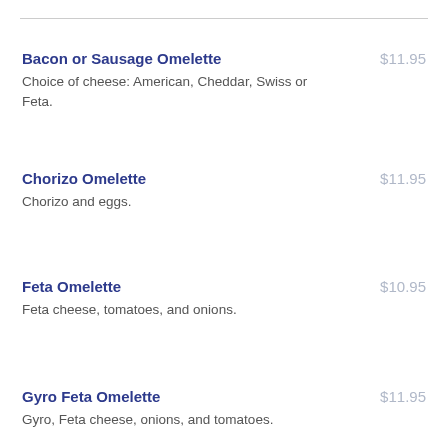Bacon or Sausage Omelette $11.95 — Choice of cheese: American, Cheddar, Swiss or Feta.
Chorizo Omelette $11.95 — Chorizo and eggs.
Feta Omelette $10.95 — Feta cheese, tomatoes, and onions.
Gyro Feta Omelette $11.95 — Gyro, Feta cheese, onions, and tomatoes.